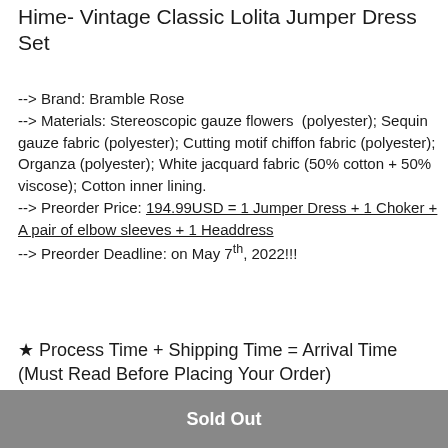Hime- Vintage Classic Lolita Jumper Dress Set
---> Brand: Bramble Rose
---> Materials: Stereoscopic gauze flowers (polyester); Sequin gauze fabric (polyester); Cutting motif chiffon fabric (polyester); Organza (polyester); White jacquard fabric (50% cotton + 50% viscose); Cotton inner lining.
---> Preorder Price: 194.99USD = 1 Jumper Dress + 1 Choker + A pair of elbow sleeves + 1 Headdress
---> Preorder Deadline: on May 7th, 2022!!!
★ Process Time + Shipping Time = Arrival Time (Must Read Before Placing Your Order)
Sold Out